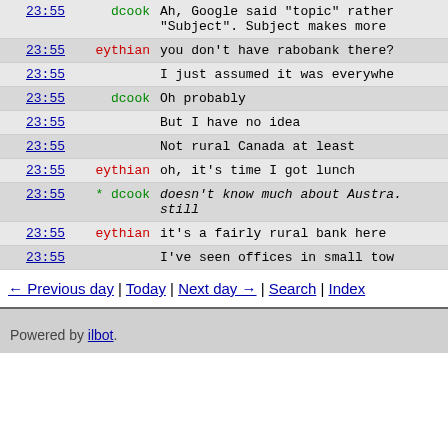| time | nick | message |
| --- | --- | --- |
| 23:55 | dcook | Ah, Google said "topic" rather "Subject". Subject makes more |
| 23:55 | eythian | you don't have rabobank there? |
| 23:55 |  | I just assumed it was everywhe |
| 23:55 | dcook | Oh probably |
| 23:55 |  | But I have no idea |
| 23:55 |  | Not rural Canada at least |
| 23:55 | eythian | oh, it's time I got lunch |
| 23:55 | * dcook | doesn't know much about Austra. still |
| 23:55 | eythian | it's a fairly rural bank here |
| 23:55 |  | I've seen offices in small tow |
← Previous day | Today | Next day → | Search | Index
Powered by ilbot.